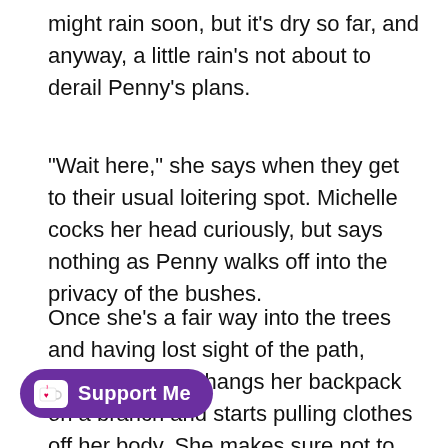might rain soon, but it's dry so far, and anyway, a little rain's not about to derail Penny's plans.
"Wait here," she says when they get to their usual loitering spot. Michelle cocks her head curiously, but says nothing as Penny walks off into the privacy of the bushes.
Once she's a fair way into the trees and having lost sight of the path, Penny carefully hangs her backpack on a branch and starts pulling clothes off her body. She makes sure not to let any of it touch [obscured]d condoms and empty beer cans aren't the most hygienic surface